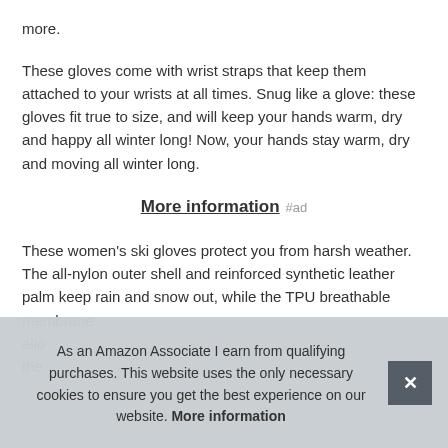more.
These gloves come with wrist straps that keep them attached to your wrists at all times. Snug like a glove: these gloves fit true to size, and will keep your hands warm, dry and happy all winter long! Now, your hands stay warm, dry and moving all winter long.
More information #ad
These women's ski gloves protect you from harsh weather. The all-nylon outer shell and reinforced synthetic leather palm keep rain and snow out, while the TPU breathable membrane allow[s moisture to escape] the [glove]...
As an Amazon Associate I earn from qualifying purchases. This website uses the only necessary cookies to ensure you get the best experience on our website. More information